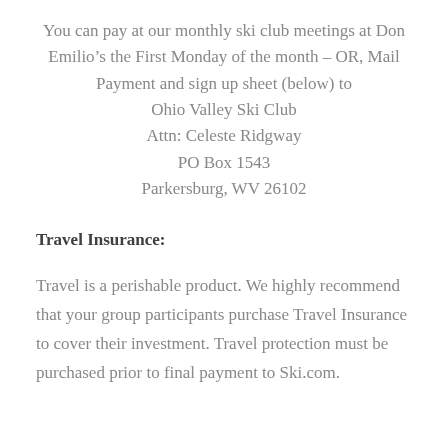You can pay at our monthly ski club meetings at Don Emilio’s the First Monday of the month – OR, Mail Payment and sign up sheet (below) to Ohio Valley Ski Club Attn: Celeste Ridgway PO Box 1543 Parkersburg, WV 26102
Travel Insurance:
Travel is a perishable product. We highly recommend that your group participants purchase Travel Insurance to cover their investment. Travel protection must be purchased prior to final payment to Ski.com.